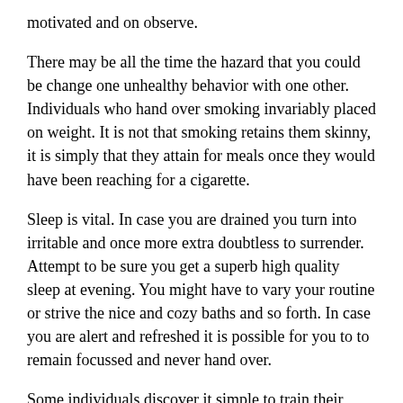motivated and on observe.
There may be all the time the hazard that you could be change one unhealthy behavior with one other. Individuals who hand over smoking invariably placed on weight. It is not that smoking retains them skinny, it is simply that they attain for meals once they would have been reaching for a cigarette.
Sleep is vital. In case you are drained you turn into irritable and once more extra doubtless to surrender. Attempt to be sure you get a superb high quality sleep at evening. You might have to vary your routine or strive the nice and cozy baths and so forth. In case you are alert and refreshed it is possible for you to to remain focussed and never hand over.
Some individuals discover it simple to train their willpower, however many extra wrestle. The extra profitable you're the simpler will probably be. So sure you are able to do it. Give your self a deal with and encourage your loved ones and buddies that can assist you too. Good luck. Do not be like Oscar Wilde who mentioned “The one option to do away with a temptation is to yield to it.” Be like Benjamin Franklin, “Vitality and persistence